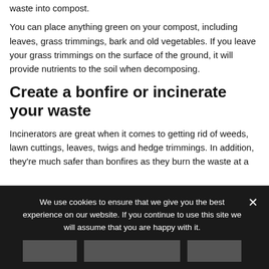waste into compost.
You can place anything green on your compost, including leaves, grass trimmings, bark and old vegetables. If you leave your grass trimmings on the surface of the ground, it will provide nutrients to the soil when decomposing.
Create a bonfire or incinerate your waste
Incinerators are great when it comes to getting rid of weeds, lawn cuttings, leaves, twigs and hedge trimmings. In addition, they're much safer than bonfires as they burn the waste at a
We use cookies to ensure that we give you the best experience on our website. If you continue to use this site we will assume that you are happy with it.